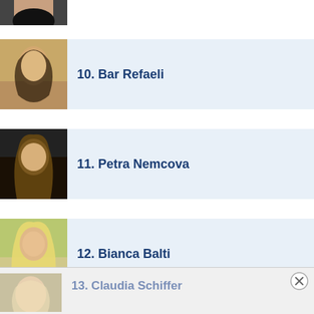[Figure (photo): Partial photo of a woman in a black outfit, cropped at top]
10. Bar Refaeli
[Figure (photo): Photo of Bar Refaeli with dark hair and jewelry]
11. Petra Nemcova
[Figure (photo): Photo of Petra Nemcova with long wavy brown hair]
12. Bianca Balti
[Figure (photo): Photo of Bianca Balti with long blonde hair]
13. Claudia Schiffer